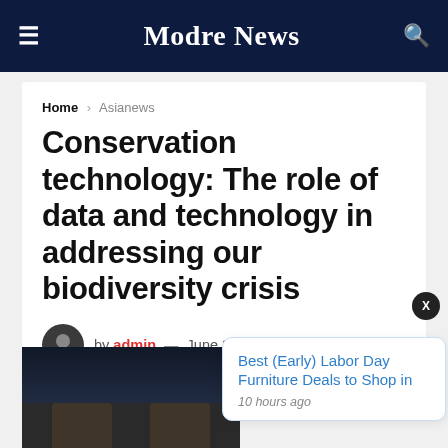Modre News
Home > Asianews
Conservation technology: The role of data and technology in addressing our biodiversity crisis
by admin — June 23, 2022
Reading Time: 6 mins read
[Figure (photo): Dark background article thumbnail image showing hands holding a dark object]
Best (Early) Labor Day Furniture Deals to Shop in
10 hours ago